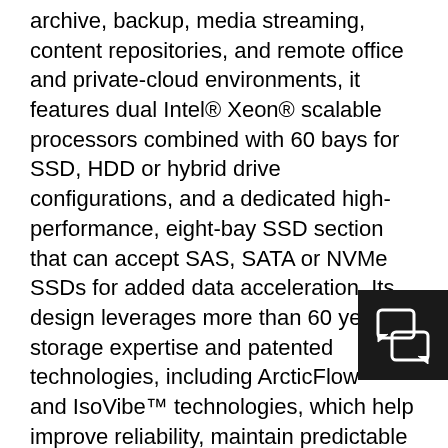archive, backup, media streaming, content repositories, and remote office and private-cloud environments, it features dual Intel® Xeon® scalable processors combined with 60 bays for SSD, HDD or hybrid drive configurations, and a dedicated high-performance, eight-bay SSD section that can accept SAS, SATA or NVMe SSDs for added data acceleration. Its design leverages more than 60 years of storage expertise and patented technologies, including ArcticFlow™ and IsoVibe™ technologies, which help improve reliability, maintain predictable performance, and enhance energy efficiency. The Ultrastar Serv60+8 storage server platforms start at 144TB and are now available, in multiple configurations, through the company's network of worldwide distribution and channel partners.
The ActiveScale 5.3, IntelliFlash N Series and Ultrastar Serv60+8 offerings are natural extensions of Western Digital's data technology leadership. The company's unique differentiation and value-add comes from its ability to fine-tune and optimize a complete ecosystem of